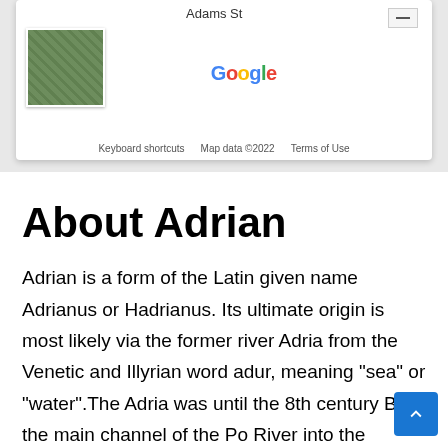[Figure (screenshot): Google Maps card showing a map thumbnail, Google logo, and footer with keyboard shortcuts, map data copyright 2022, and Terms of Use. Top bar shows 'Adams St' label. Minimize button in top right.]
About Adrian
Adrian is a form of the Latin given name Adrianus or Hadrianus. Its ultimate origin is most likely via the former river Adria from the Venetic and Illyrian word adur, meaning "sea" or "water".The Adria was until the 8th century BC the main channel of the Po River into the Adriatic Sea but ceased to exist before the 1st century BC. Hecataeus of Miletus (c.550 - c.476 BC) asserted that both the Etruscan harbor city of Adria and the Adriatic Sea had been named after it. Emperor Hadrian's family